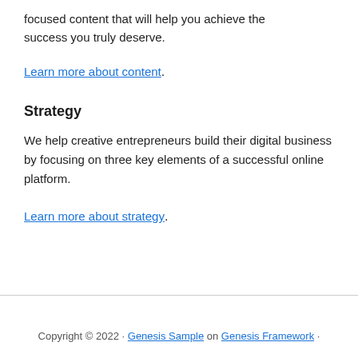focused content that will help you achieve the success you truly deserve.
Learn more about content.
Strategy
We help creative entrepreneurs build their digital business by focusing on three key elements of a successful online platform.
Learn more about strategy.
Copyright © 2022 · Genesis Sample on Genesis Framework ·